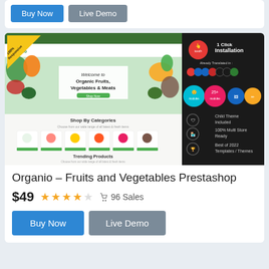[Figure (screenshot): Top portion of a product card showing Buy Now and Live Demo buttons for a previous product listing]
[Figure (screenshot): Organio Fruits and Vegetables Prestashop theme screenshot showing a green-themed ecommerce store with hero banner 'Organic Fruits, Vegetables & Meats', Shop By Categories section, Trending Products section, and a dark sidebar showing 1 Click Installation, Already Translated in multiple languages, 25+ modules, Child Theme Included, 100% Multi Store Ready, Best of 2022 Templates/Themes features. A yellow '100% Responsive' corner badge is visible.]
Organio – Fruits and Vegetables Prestashop
$49  ★★★★☆  96 Sales
Buy Now   Live Demo